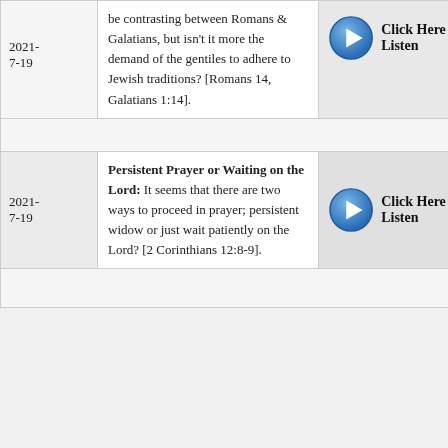| Date | Description | Listen |
| --- | --- | --- |
| 2021-7-19 | ...be contrasting between Romans & Galatians, but isn't it more the demand of the gentiles to adhere to Jewish traditions? [Romans 14, Galatians 1:14]. | Click Here to Listen |
| 2021-7-19 | Persistent Prayer or Waiting on the Lord: It seems that there are two ways to proceed in prayer; persistent widow or just wait patiently on the Lord? [2 Corinthians 12:8-9]. | Click Here to Listen |